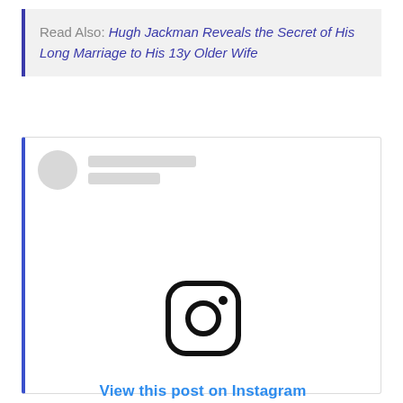Read Also: Hugh Jackman Reveals the Secret of His Long Marriage to His 13y Older Wife
[Figure (screenshot): Instagram embed placeholder showing a circular avatar placeholder, two gray skeleton lines for username/handle, a centered Instagram camera logo icon, and a blue 'View this post on Instagram' link.]